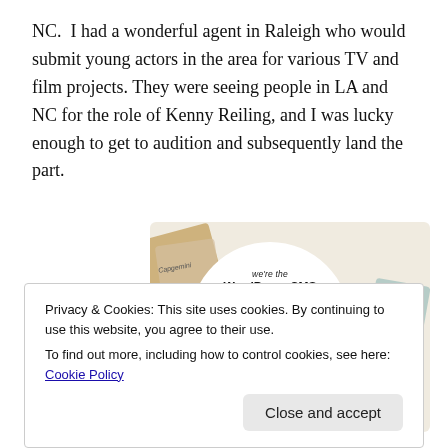NC.  I had a wonderful agent in Raleigh who would submit young actors in the area for various TV and film projects. They were seeing people in LA and NC for the role of Kenny Reiling, and I was lucky enough to get to audition and subsequently land the part.
[Figure (other): WordPress VIP advertisement banner showing 'we're the WordPress CMS for Very Important Content' with WP vip logo and Learn more button, surrounded by colorful cards/tags in background]
Privacy & Cookies: This site uses cookies. By continuing to use this website, you agree to their use.
To find out more, including how to control cookies, see here: Cookie Policy